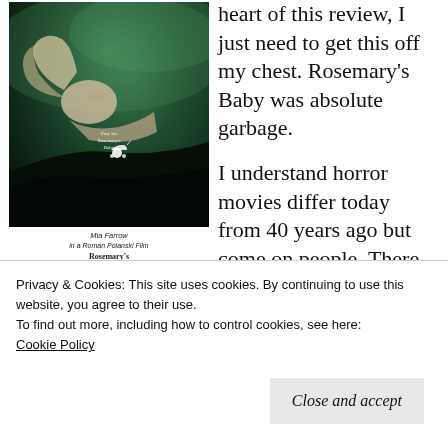[Figure (photo): Movie poster for Rosemary's Baby showing a woman lying back with green misty background and a baby carriage silhouette on a dark hill. Text reads 'Pray for Rosemary's Baby'. Below the poster image is a caption with 'Mia Farrow, Rosemary's Baby, John Cassavetes' and production credits.]
heart of this review, I just need to get this off my chest. Rosemary's Baby was absolute garbage.
I understand horror movies differ today from 40 years ago but come on people. There is nothing
Privacy & Cookies: This site uses cookies. By continuing to use this website, you agree to their use.
To find out more, including how to control cookies, see here:
Cookie Policy
Close and accept